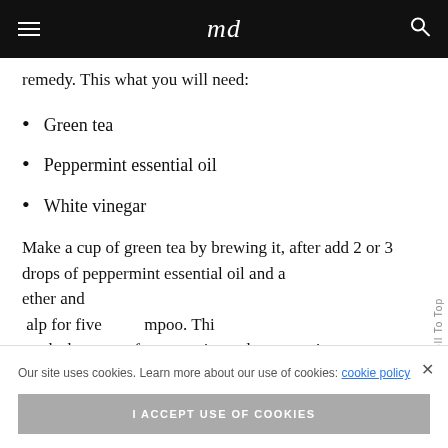md
remedy. This what you will need:
Green tea
Peppermint essential oil
White vinegar
Make a cup of green tea by brewing it, after add 2 or 3 drops of peppermint essential oil and a [...]ether and
[...]alp for five [...] mpoo. Thi[s]
works because of peppermint and green tea's
Our site uses cookies. Learn more about our use of cookies: cookie policy
I ACCEPT USE OF COOKIES